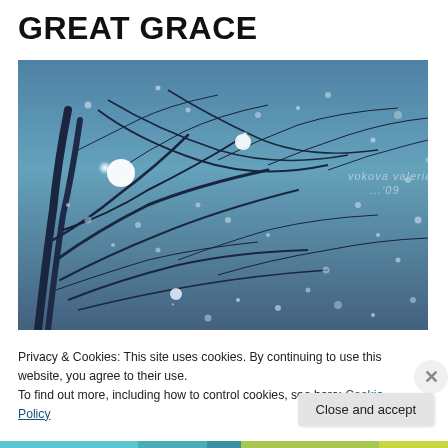GREAT GRACE
[Figure (photo): Winter night photo looking up through bare tree branches with bokeh snow/light effects on a blue-toned background. Watermark text reads 'vokova valeria ...09']
Privacy & Cookies: This site uses cookies. By continuing to use this website, you agree to their use.
To find out more, including how to control cookies, see here: Cookie Policy
Close and accept